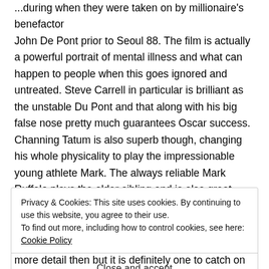...during when they were taken on by millionaire's benefactor John De Pont prior to Seoul 88. The film is actually a powerful portrait of mental illness and what can happen to people when this goes ignored and untreated. Steve Carrell in particular is brilliant as the unstable Du Pont and that along with his big false nose pretty much guarantees Oscar success. Channing Tatum is also superb though, changing his whole physicality to play the impressionable young athlete Mark. The always reliable Mark Ruffalo plays the older sibling and is also great. Sienna Miller is in the film too as Dave's wife but her part is quite small. This
Privacy & Cookies: This site uses cookies. By continuing to use this website, you agree to their use.
To find out more, including how to control cookies, see here: Cookie Policy
Close and accept
more detail then but it is definitely one to catch on its